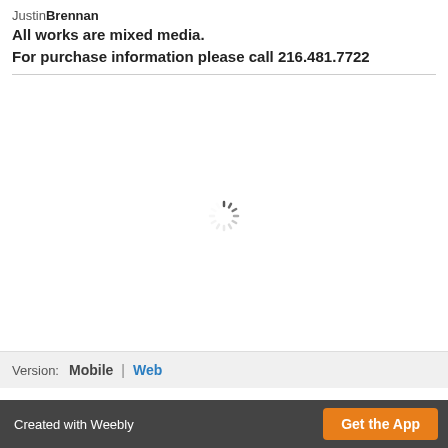Justin Brennan
All works are mixed media.
For purchase information please call 216.481.7722
[Figure (other): Loading spinner icon (circular dashed spinner graphic) centered in white area]
Version: Mobile | Web
Created with Weebly   Get the App